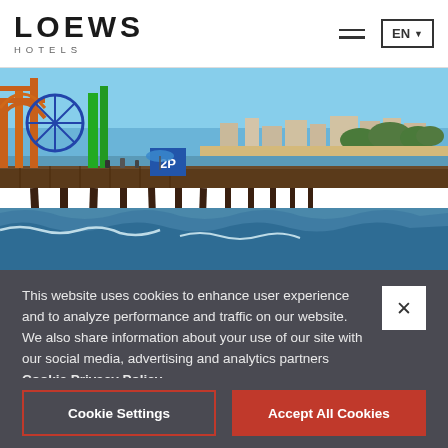LOEWS HOTELS
[Figure (photo): Santa Monica Pier with amusement park rides, ocean waves underneath the wooden pier structure, beach and city skyline in background, sunny day]
This website uses cookies to enhance user experience and to analyze performance and traffic on our website. We also share information about your use of our site with our social media, advertising and analytics partners Cookie Privacy Policy
Cookie Settings
Accept All Cookies